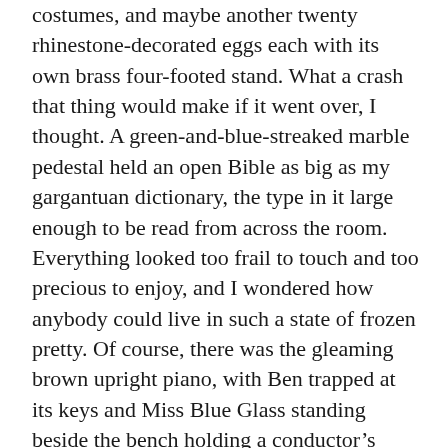costumes, and maybe another twenty rhinestone-decorated eggs each with its own brass four-footed stand. What a crash that thing would make if it went over, I thought. A green-and-blue-streaked marble pedestal held an open Bible as big as my gargantuan dictionary, the type in it large enough to be read from across the room. Everything looked too frail to touch and too precious to enjoy, and I wondered how anybody could live in such a state of frozen pretty. Of course, there was the gleaming brown upright piano, with Ben trapped at its keys and Miss Blue Glass standing beside the bench holding a conductor's baton.
“Hello, Cory. Please have a seat,” she said. She was wearing all blue, as usual, except for a wide white belt around her bony waist. Her whitish-blond hair was piled up like a foamy fountain, her black